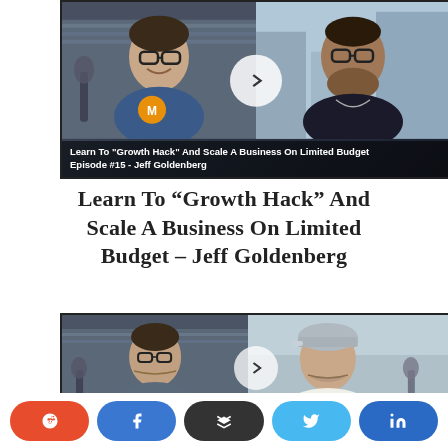[Figure (screenshot): Video thumbnail showing two people in a split-screen video call. Left person wears a blue jacket with glasses and a branded shirt, right person wears a dark shirt and glasses. White circular play button in center. Text overlay at bottom reads: Learn To "Growth Hack" And Scale A Business On Limited Budget Episode #15 - Jeff Goldenberg]
Learn To “Growth Hack” And Scale A Business On Limited Budget – Jeff Goldenberg
[Figure (screenshot): Video thumbnail showing two people in a split-screen video call. Left person wears glasses in a room with bookshelves, right person wears a baseball cap. White circular play button in center.]
Reddit share button
Facebook share button
Buffer share button
Twitter share button
LinkedIn share button